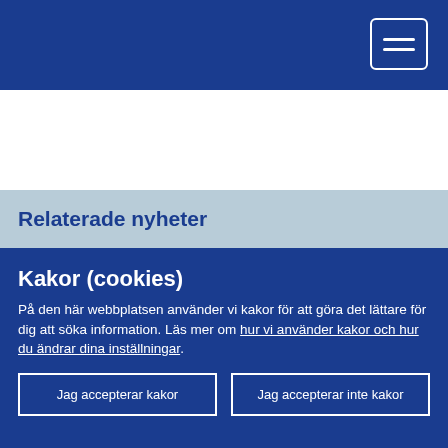Relaterade nyheter
[Figure (photo): Photo showing two white rounded cube/pill objects on a light blue background — one with a minus sign and one with a plus sign in orange/golden color]
Kakor (cookies)
På den här webbplatsen använder vi kakor för att göra det lättare för dig att söka information. Läs mer om hur vi använder kakor och hur du ändrar dina inställningar.
Jag accepterar kakor
Jag accepterar inte kakor